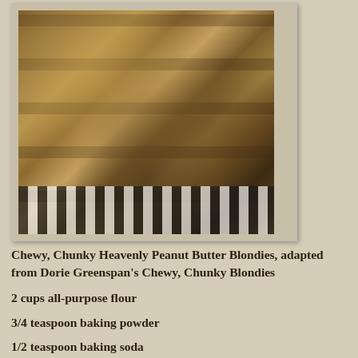[Figure (photo): Stacked pieces of peanut butter blondies with chocolate chips and other mix-ins, on a zebra-striped plate/surface]
Chewy, Chunky Heavenly Peanut Butter Blondies, adapted from Dorie Greenspan's Chewy, Chunky Blondies
2 cups all-purpose flour
3/4 teaspoon baking powder
1/2 teaspoon baking soda
1/2 teaspoon salt